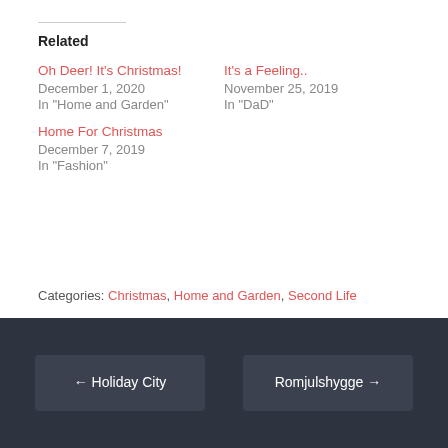Related
Oh Deer! It's Christmas!
December 1, 2020
In "Home and Garden"
It's a Feeling..
November 25, 2019
In "DaD"
Home For Christmas
December 7, 2019
In "Fashion"
Categories: Christmas, Home and Garden, Second Life
Tags: Bricolage, DaD, Granola, InsurreKtion
← Holiday City    Romjulshygge →